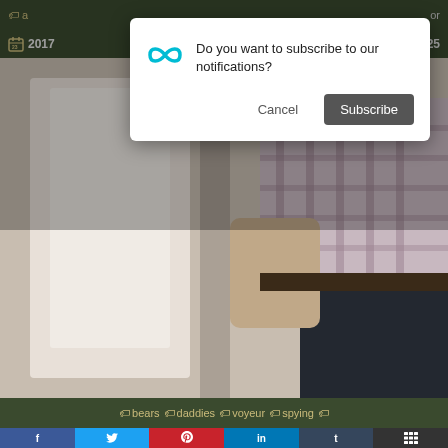a ... or
2017  0:25
[Figure (photo): Person standing at a urinal, wearing a plaid shirt and dark pants, viewed from behind]
bears  daddies  voyeur  spying
[Figure (screenshot): Browser push notification dialog: 'Do you want to subscribe to our notifications?' with Cancel and Subscribe buttons]
f  (twitter)  (pinterest)  in  t  (share)